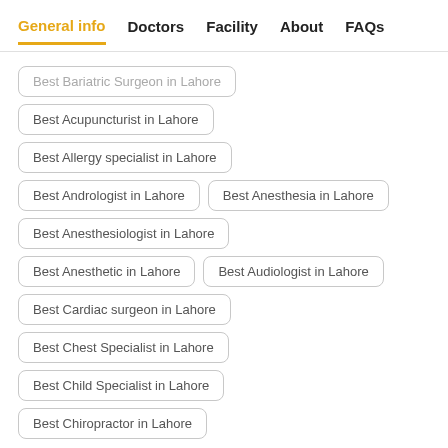General info  Doctors  Facility  About  FAQs
Best Bariatric Surgeon in Lahore
Best Acupuncturist in Lahore
Best Allergy specialist in Lahore
Best Andrologist in Lahore
Best Anesthesia in Lahore
Best Anesthesiologist in Lahore
Best Anesthetic in Lahore
Best Audiologist in Lahore
Best Cardiac surgeon in Lahore
Best Chest Specialist in Lahore
Best Child Specialist in Lahore
Best Chiropractor in Lahore